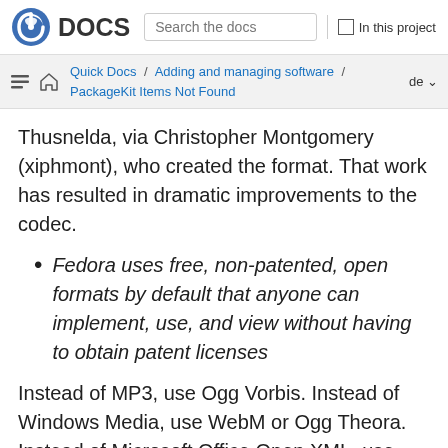DOCS | Search the docs | In this project
Quick Docs / Adding and managing software / PackageKit Items Not Found | de
Thusnelda, via Christopher Montgomery (xiphmont), who created the format. That work has resulted in dramatic improvements to the codec.
Fedora uses free, non-patented, open formats by default that anyone can implement, use, and view without having to obtain patent licenses
Instead of MP3, use Ogg Vorbis. Instead of Windows Media, use WebM or Ogg Theora. Instead of Microsoft Office Open XML, use Open Document format documents, or even PDF. Vote with your currency by purchasing hardware and solutions that